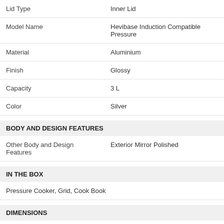| Attribute | Value |
| --- | --- |
| Lid Type | Inner Lid |
| Model Name | Hevibase Induction Compatible Pressure |
| Material | Aluminium |
| Finish | Glossy |
| Capacity | 3 L |
| Color | Silver |
BODY AND DESIGN FEATURES
| Attribute | Value |
| --- | --- |
| Other Body and Design Features | Exterior Mirror Polished |
IN THE BOX
| Value |
| --- |
| Pressure Cooker,  Grid, Cook Book |
DIMENSIONS
| Attribute | Value |
| --- | --- |
| Other Dimensions | 6.35 mm Thickness |